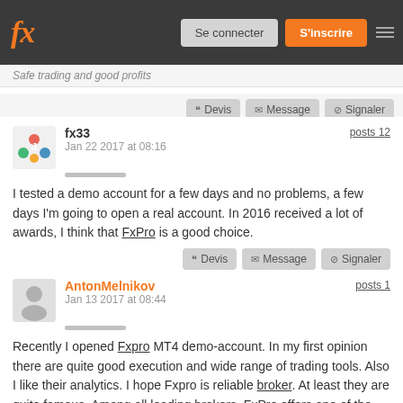fx - Safe trading and good profits
I tested a demo account for a few days and no problems, a few days I'm going to open a real account. In 2016 received a lot of awards, I think that FxPro is a good choice.
Recently I opened Fxpro MT4 demo-account. In my first opinion there are quite good execution and wide range of trading tools. Also I like their analytics. I hope Fxpro is reliable broker. At least they are quite famous. Among all leading brokers, FxPro offers one of the lowest spreads.